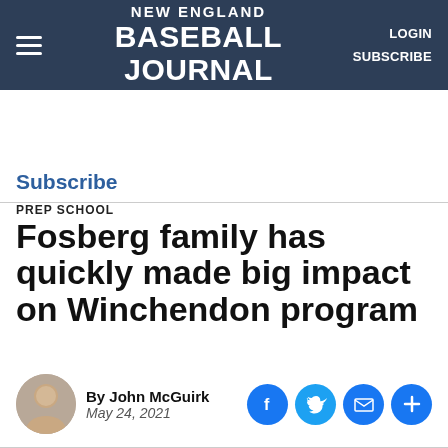NEW ENGLAND BASEBALL JOURNAL | LOGIN | SUBSCRIBE
Subscribe
PREP SCHOOL
Fosberg family has quickly made big impact on Winchendon program
By John McGuirk
May 24, 2021